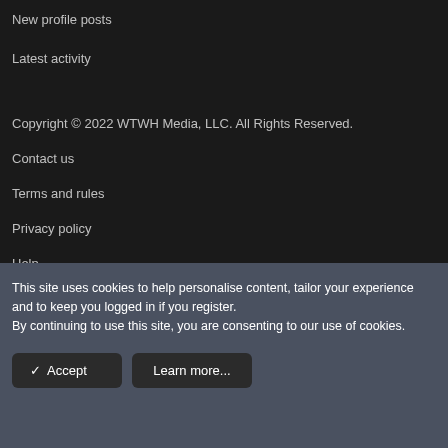New profile posts
Latest activity
Copyright © 2022 WTWH Media, LLC. All Rights Reserved.
Contact us
Terms and rules
Privacy policy
Help
This site uses cookies to help personalise content, tailor your experience and to keep you logged in if you register.
By continuing to use this site, you are consenting to our use of cookies.
✓ Accept
Learn more...